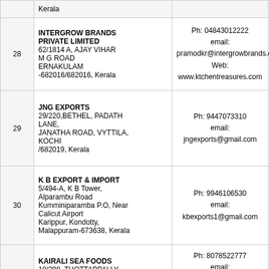| No. | Company Name & Address | Contact Details | Code |
| --- | --- | --- | --- |
|  | Kerala |  |  |
| 28 | INTERGROW BRANDS PRIVATE LIMITED
62/1814 A, AJAY VIHAR
M G ROAD
ERNAKULAM
-682016/682016, Kerala | Ph: 04843012222
email: pramodkr@intergrowbrands.com
Web: www.ktchentreasures.com | KL1
17
16 |
| 29 | JNG EXPORTS
29/220,BETHEL, PADATH LANE,
JANATHA ROAD, VYTTILA, KOCHI
/682019, Kerala | Ph: 9447073310
email: jngexports@gmail.com | KL1
22
21 |
| 30 | K B EXPORT & IMPORT
5/494-A, K B Tower,
Alparambu Road
Kumminiparamba P.O, Near Calicut Airport
Karippur, Kondotty,
Malappuram-673638, Kerala | Ph: 9946106530
email: kbexports1@gmail.com | KL1
15
14 |
| 31 | KAIRALI SEA FOODS
10/398, THOTTAPPALLY,
PURAKKAD,
ALAPPUZHA-688561, Kerala | Ph: 8078522777
email: info@kairaliseafoods.com
Web: kairaliseafoods.com | KL1
26
25 |
| 32 | KINGS INFRA VENTURES LTD
14 B, The Atria
... | Ph: 04842311678
email: ... | KL1
19 |